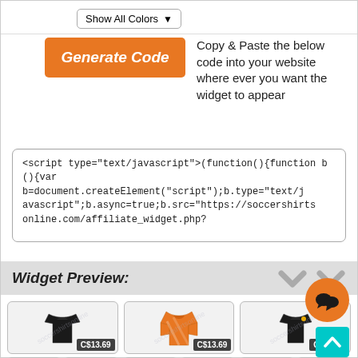[Figure (screenshot): Dropdown selector showing 'Show All Colors' with a chevron arrow]
Generate Code   Copy & Paste the below code into your website where ever you want the widget to appear
<script type="text/javascript">(function(){function b(){var b=document.createElement("script");b.type="text/javascript";b.async=true;b.src="https://soccershirtsonline.com/affiliate_widget.php?
Widget Preview:
[Figure (screenshot): Widget preview showing three soccer jersey product cards with prices C$13.69, C$13.69, C$15.63, each with accessory thumbnails below. An orange chat bubble icon and teal scroll-to-top button are visible.]